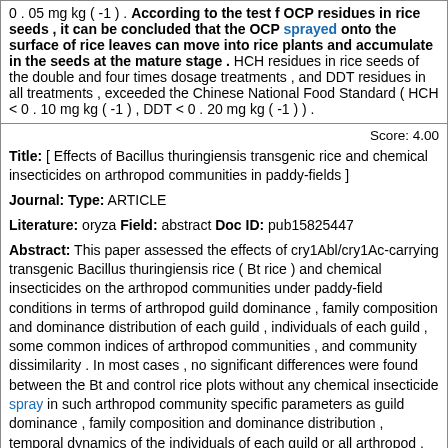0 . 05 mg kg ( -1 ) . According to the test f OCP residues in rice seeds , it can be concluded that the OCP sprayed onto the surface of rice leaves can move into rice plants and accumulate in the seeds at the mature stage . HCH residues in rice seeds of the double and four times dosage treatments , and DDT residues in all treatments , exceeded the Chinese National Food Standard ( HCH < 0 . 10 mg kg ( -1 ) , DDT < 0 . 20 mg kg ( -1 ) ) .
Score: 4.00
Title: [ Effects of Bacillus thuringiensis transgenic rice and chemical insecticides on arthropod communities in paddy-fields ]
Journal: Type: ARTICLE
Literature: oryza Field: abstract Doc ID: pub15825447
Abstract: This paper assessed the effects of cry1Abl/cry1Ac-carrying transgenic Bacillus thuringiensis rice ( Bt rice ) and chemical insecticides on the arthropod communities under paddy-field conditions in terms of arthropod guild dominance , family composition and dominance distribution of each guild , individuals of each guild , some common indices of arthropod communities , and community dissimilarity . In most cases , no significant differences were found between the Bt and control rice plots without any chemical insecticide spray in such arthropod community specific parameters as guild dominance , family composition and dominance distribution , temporal dynamics of the individuals of each guild or all arthropod , as well as some common community indices ( including species richness , Shannon-Wiener diversity index , evenness index and dominant index ) and their temporal dynamics . The similarity of arthropod community between the Bt and control rice plots were apparently higher . It was clear that Bt rice generally showed no marked negative effect on the arthropod community in paddy field . In contrast